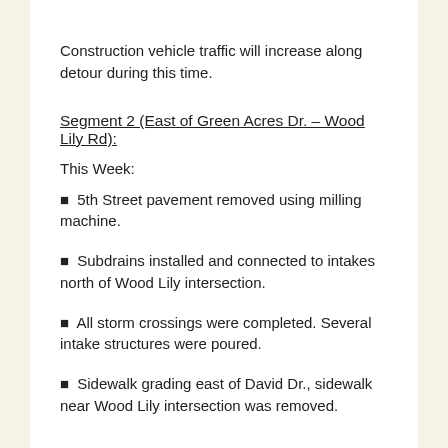Construction vehicle traffic will increase along detour during this time.
Segment 2 (East of Green Acres Dr. – Wood Lily Rd):
This Week:
5th Street pavement removed using milling machine.
Subdrains installed and connected to intakes north of Wood Lily intersection.
All storm crossings were completed. Several intake structures were poured.
Sidewalk grading east of David Dr., sidewalk near Wood Lily intersection was removed.